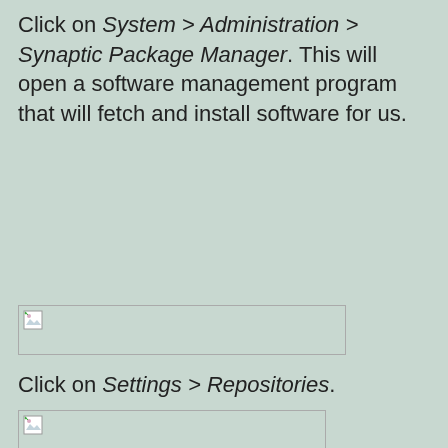Click on System > Administration > Synaptic Package Manager. This will open a software management program that will fetch and install software for us.
[Figure (screenshot): Screenshot placeholder showing a broken image icon with a thin rectangular border]
Click on Settings > Repositories.
[Figure (screenshot): Screenshot placeholder showing a broken image icon with a thin rectangular border]